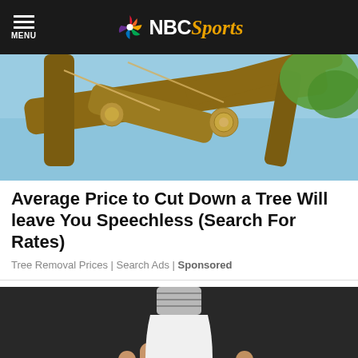NBC Sports
[Figure (photo): Tree branches being cut with ropes, outdoor daytime scene with blue sky]
Average Price to Cut Down a Tree Will leave You Speechless (Search For Rates)
Tree Removal Prices | Search Ads | Sponsored
[Figure (photo): Hand holding a white LED light bulb camera device against a dark background]